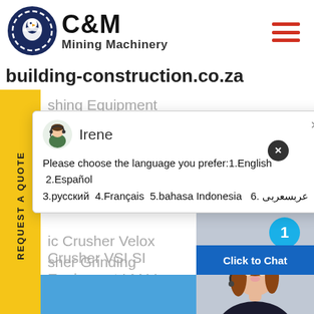[Figure (logo): C&M Mining Machinery logo with circular eagle/gear emblem and text]
building-construction.co.za
shing Equipment PE Jaw Crusher PEW Jaw
[Figure (screenshot): Chat popup with avatar of Irene, close button, and message: Please choose the language you prefer:1.English 2.Español 3.русский 4.Français 5.bahasa Indonesia 6. عربسعربی]
ic Crusher Velox Crusher VSI SI
sher Grinding Equipment LM Ve
s MTM Trapezium Grinder MTW
M Ultrafine Mill Ball
[Figure (photo): Customer service representative woman with headset smiling, with notification badge showing 1 and Click to Chat button below]
Click to Chat
Enquiry